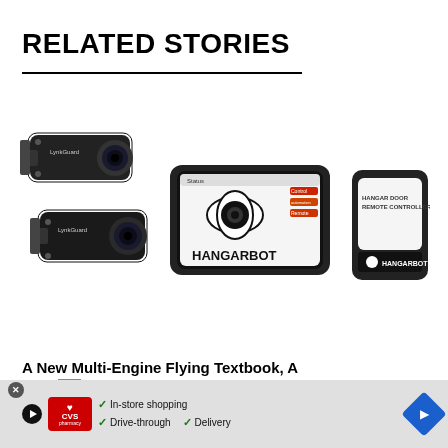RELATED STORIES
[Figure (photo): Product photo showing two LynkGuard security cameras on the left, a Hangarbot display unit in the center with eye logo and buttons, and a Hangarbot hangar door remote controller on the right.]
A New Multi-Engine Flying Textbook, A Security...ts
[Figure (other): CVS Pharmacy advertisement banner showing CVS logo, checkmarks for In-store shopping, Drive-through, and Delivery options, with a navigation icon.]